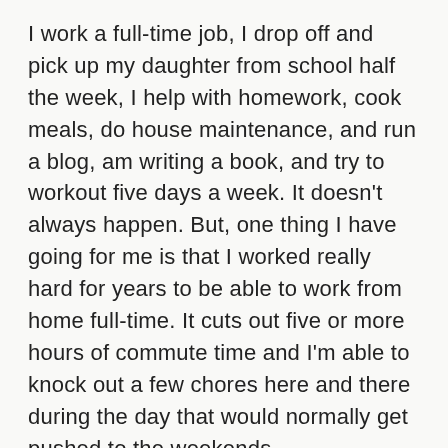I work a full-time job, I drop off and pick up my daughter from school half the week, I help with homework, cook meals, do house maintenance, and run a blog, am writing a book, and try to workout five days a week. It doesn't always happen. But, one thing I have going for me is that I worked really hard for years to be able to work from home full-time. It cuts out five or more hours of commute time and I'm able to knock out a few chores here and there during the day that would normally get pushed to the weekends.
Also, my wife and I used to live in California and moved to Colorado to be closer to family when our daughter was born. So, we have a strong network of family and friends who help